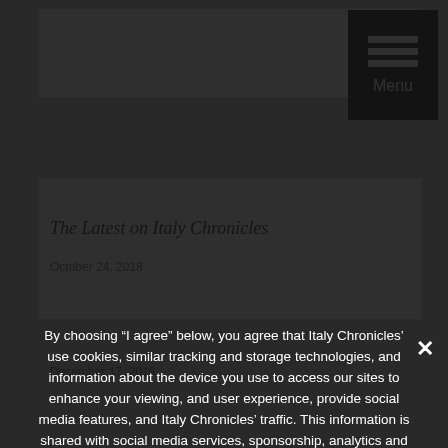[Figure (screenshot): Website screenshot showing Italy Chronicles blog page with a cookie consent modal overlay. The modal has dark background and contains cookie consent text, a Privacy Preferences link, and an I Agree button. A Menu button is visible in the top-right corner.]
The Latest on Italy Chronicles
By choosing “I agree” below, you agree that Italy Chronicles’ use cookies, similar tracking and storage technologies, and information about the device you use to access our sites to enhance your viewing, and user experience, provide social media features, and Italy Chronicles’ traffic. This information is shared with social media services, sponsorship, analytics and other third-party service providers.
› Privacy Preferences
I Agree